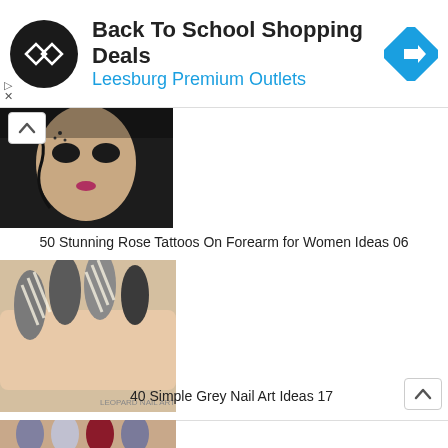[Figure (screenshot): Advertisement banner for Back To School Shopping Deals at Leesburg Premium Outlets, with logo, text, and directions icon]
[Figure (photo): Close-up photo of a person with face tattoo, showing rose tattoo artwork]
50 Stunning Rose Tattoos On Forearm for Women Ideas 06
[Figure (photo): Close-up photo of grey nail art with zebra stripe pattern on almond-shaped nails]
40 Simple Grey Nail Art Ideas 17
[Figure (photo): Close-up photo of colorful nail art, partially visible at bottom of page]